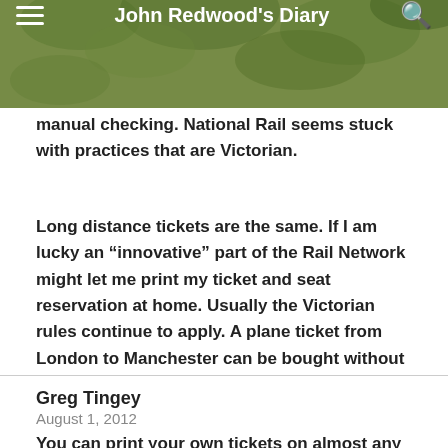John Redwood's Diary
manual checking. National Rail seems stuck with practices that are Victorian.
Long distance tickets are the same. If I am lucky an “innovative” part of the Rail Network might let me print my ticket and seat reservation at home. Usually the Victorian rules continue to apply. A plane ticket from London to Manchester can be bought without visiting ticket offices or using ticket machines.
Greg Tingey
August 1, 2012
You can print your own tickets on almost any rail service, both